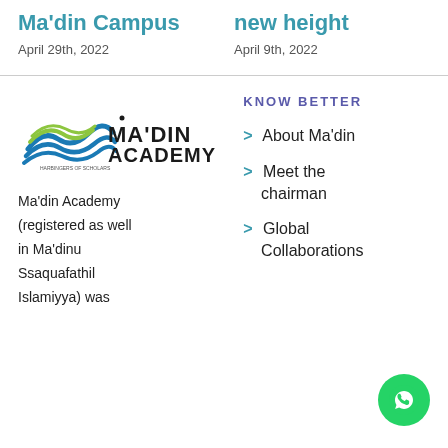Ma'din Campus
April 29th, 2022
new height
April 9th, 2022
[Figure (logo): Ma'din Academy logo with blue and green wave graphic and text]
KNOW BETTER
Ma'din Academy (registered as well in Ma'dinu Ssaquafathil Islamiyya) was
> About Ma'din
> Meet the chairman
> Global Collaborations